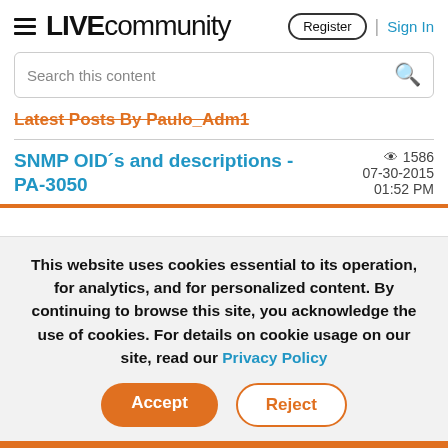LIVE community  Register | Sign In
Search this content
Latest Posts By Paulo_Adm1
SNMP OID´s and descriptions - PA-3050   1586   07-30-2015  01:52 PM
This website uses cookies essential to its operation, for analytics, and for personalized content. By continuing to browse this site, you acknowledge the use of cookies. For details on cookie usage on our site, read our Privacy Policy